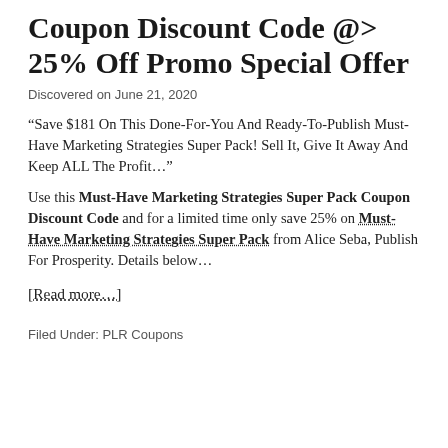Coupon Discount Code @> 25% Off Promo Special Offer
Discovered on June 21, 2020
“Save $181 On This Done-For-You And Ready-To-Publish Must-Have Marketing Strategies Super Pack! Sell It, Give It Away And Keep ALL The Profit…”
Use this Must-Have Marketing Strategies Super Pack Coupon Discount Code and for a limited time only save 25% on Must-Have Marketing Strategies Super Pack from Alice Seba, Publish For Prosperity. Details below…
[Read more...]
Filed Under: PLR Coupons